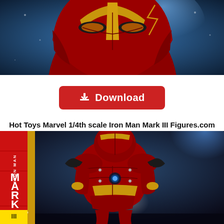[Figure (photo): Top portion of Iron Man Mark III helmet in red and gold armor, against a blue atmospheric background with glowing light effects]
[Figure (other): Red Download button with download arrow icon]
Hot Toys Marvel 1/4th scale Iron Man Mark III Figures.com
[Figure (photo): Hot Toys Iron Man Mark III 1/4th scale collectible figure shown from behind, red and gold armor with detailed back panel, glowing arc reactor effects, dark atmospheric background with the product logo on the left side showing 'IRON MAN MARK III 1/4TH SCALE CO']